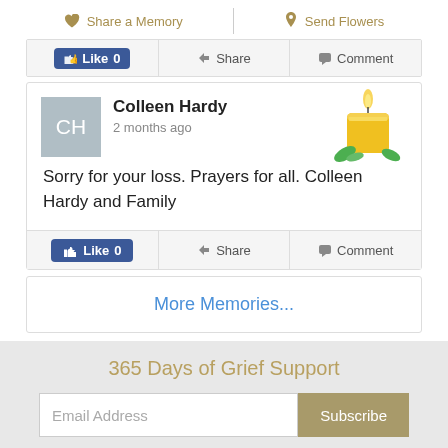Share a Memory  |  Send Flowers
Like 0  Share  Comment
Colleen Hardy
2 months ago

Sorry for your loss. Prayers for all. Colleen Hardy and Family
Like 0  Share  Comment
More Memories...
365 Days of Grief Support
Email Address  Subscribe